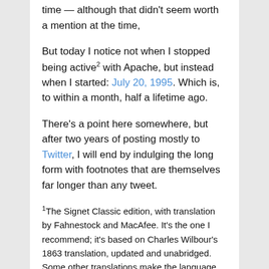time — although that didn't seem worth a mention at the time,
But today I notice not when I stopped being active2 with Apache, but instead when I started: July 20, 1995. Which is, to within a month, half a lifetime ago.
There's a point here somewhere, but after two years of posting mostly to Twitter, I will end by indulging the long form with footnotes that are themselves far longer than any tweet.
1The Signet Classic edition, with translation by Fahnestock and MacAfee. It's the one I recommend; it's based on Charles Wilbour's 1863 translation, updated and unabridged. Some other translations make the language too modern, which makes the book feel not quite right; this one still feels like the nineteenth century novel it is. It's also the version I first read twenty years ago (see nostalgia above). The only downside to this translation is that it's only available as a 1500-page paperback; it would be nice if I could get it as an e-book. Be careful with the e-book stores, by the way — for example, Amazon will claim to sell you a Kindle version of this book, but it's a different